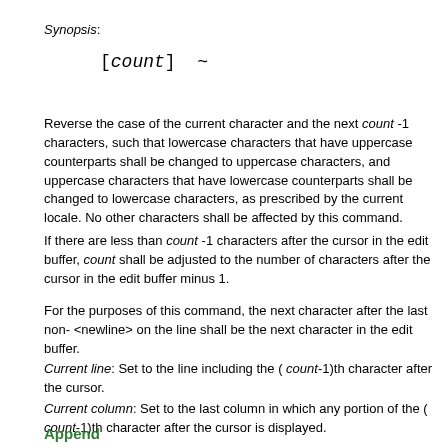Synopsis:
Reverse the case of the current character and the next count -1 characters, such that lowercase characters that have uppercase counterparts shall be changed to uppercase characters, and uppercase characters that have lowercase counterparts shall be changed to lowercase characters, as prescribed by the current locale. No other characters shall be affected by this command.
If there are less than count -1 characters after the cursor in the edit buffer, count shall be adjusted to the number of characters after the cursor in the edit buffer minus 1.
For the purposes of this command, the next character after the last non- <newline> on the line shall be the next character in the edit buffer.
Current line: Set to the line including the ( count-1)th character after the cursor.
Current column: Set to the last column in which any portion of the ( count-1)th character after the cursor is displayed.
Append